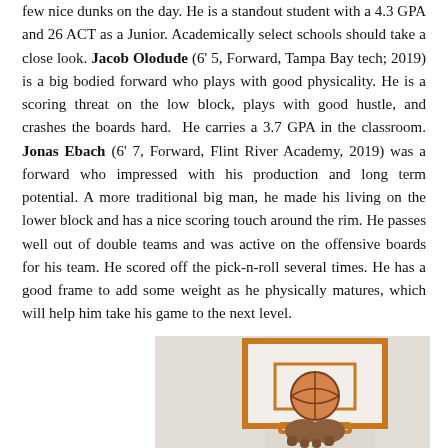few nice dunks on the day. He is a standout student with a 4.3 GPA and 26 ACT as a Junior. Academically select schools should take a close look. Jacob Olodude (6' 5, Forward, Tampa Bay tech; 2019) is a big bodied forward who plays with good physicality. He is a scoring threat on the low block, plays with good hustle, and crashes the boards hard.  He carries a 3.7 GPA in the classroom. Jonas Ebach (6' 7, Forward, Flint River Academy, 2019) was a forward who impressed with his production and long term potential. A more traditional big man, he made his living on the lower block and has a nice scoring touch around the rim. He passes well out of double teams and was active on the offensive boards for his team. He scored off the pick-n-roll several times. He has a good frame to add some weight as he physically matures, which will help him take his game to the next level.
[Figure (photo): Basketball player dunking or holding ball near a backboard and rim in an indoor gymnasium setting]